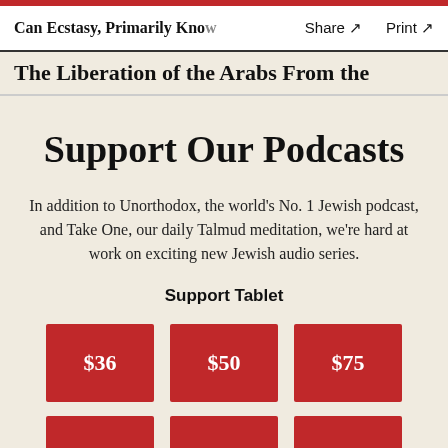Can Ecstasy, Primarily Know   Share ↗   Print ↗
The Liberation of the Arabs From the
×
Support Our Podcasts
In addition to Unorthodox, the world's No. 1 Jewish podcast, and Take One, our daily Talmud meditation, we're hard at work on exciting new Jewish audio series.
Support Tablet
[Figure (other): Three red donation buttons showing $36, $50, $75]
[Figure (other): Three red donation buttons partially visible at bottom]